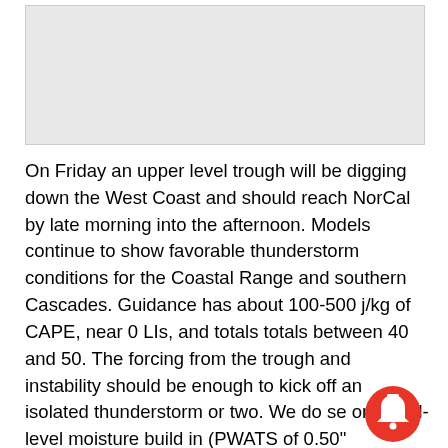[Figure (other): Blank/placeholder image at top of page]
On Friday an upper level trough will be digging down the West Coast and should reach NorCal by late morning into the afternoon. Models continue to show favorable thunderstorm conditions for the Coastal Range and southern Cascades. Guidance has about 100-500 j/kg of CAPE, near 0 LIs, and totals totals between 40 and 50. The forcing from the trough and instability should be enough to kick off an isolated thunderstorm or two. We do see some mid-level moisture build in (PWATS of 0.50"